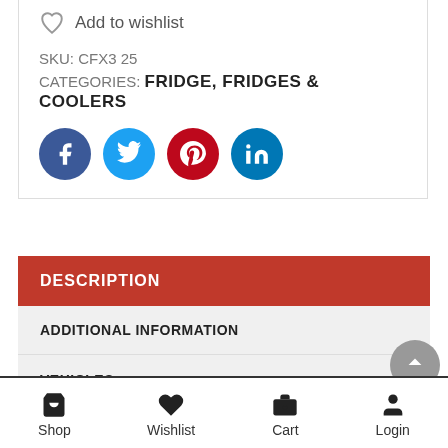Add to wishlist
SKU: CFX3 25
CATEGORIES: FRIDGE, FRIDGES & COOLERS
[Figure (other): Social media share icons: Facebook, Twitter, Pinterest, LinkedIn]
DESCRIPTION
ADDITIONAL INFORMATION
VEHICLES
[Figure (other): WhatsApp chat button (green circle)]
Shop | Wishlist | Cart | Login